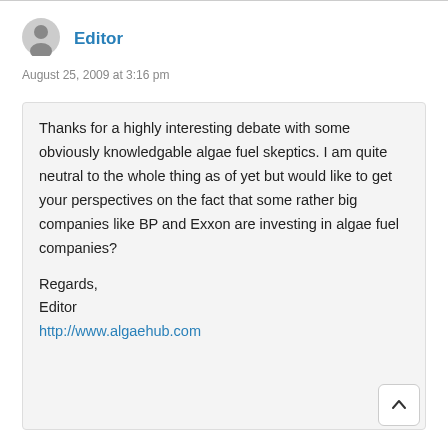[Figure (illustration): Gray user avatar icon (default profile silhouette)]
Editor
August 25, 2009 at 3:16 pm
Thanks for a highly interesting debate with some obviously knowledgable algae fuel skeptics. I am quite neutral to the whole thing as of yet but would like to get your perspectives on the fact that some rather big companies like BP and Exxon are investing in algae fuel companies?

Regards,
Editor
http://www.algaehub.com